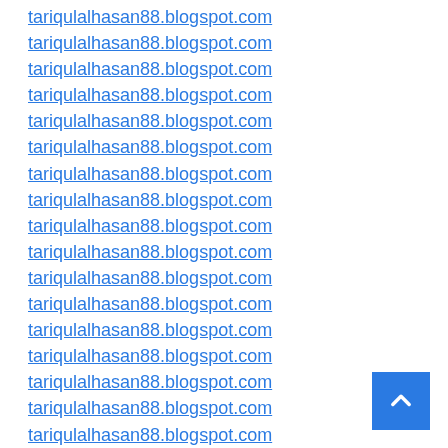tariqulalhasan88.blogspot.com
tariqulalhasan88.blogspot.com
tariqulalhasan88.blogspot.com
tariqulalhasan88.blogspot.com
tariqulalhasan88.blogspot.com
tariqulalhasan88.blogspot.com
tariqulalhasan88.blogspot.com
tariqulalhasan88.blogspot.com
tariqulalhasan88.blogspot.com
tariqulalhasan88.blogspot.com
tariqulalhasan88.blogspot.com
tariqulalhasan88.blogspot.com
tariqulalhasan88.blogspot.com
tariqulalhasan88.blogspot.com
tariqulalhasan88.blogspot.com
tariqulalhasan88.blogspot.com
tariqulalhasan88.blogspot.com